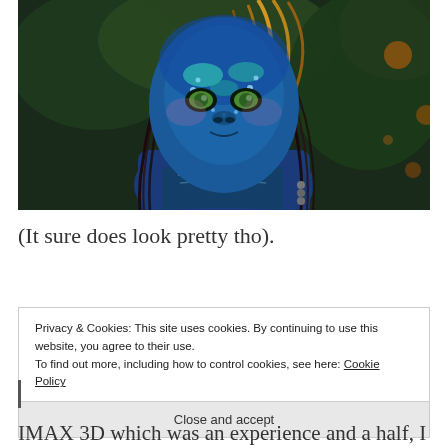[Figure (photo): A blue-skinned Na'vi character (Avatar movie) with braided hair, face paint, and feathered accessories, looking intensely at the camera. Background has green foliage and bokeh orange lights.]
(It sure does look pretty tho).
Privacy & Cookies: This site uses cookies. By continuing to use this website, you agree to their use. To find out more, including how to control cookies, see here: Cookie Policy
Close and accept
IMAX 3D which was an experience and a half, I